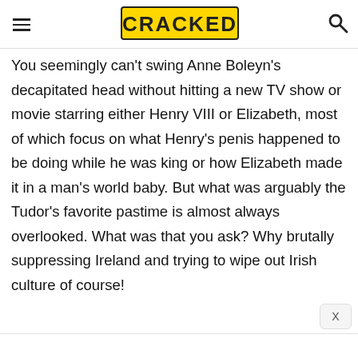CRACKED
You seemingly can't swing Anne Boleyn's decapitated head without hitting a new TV show or movie starring either Henry VIII or Elizabeth, most of which focus on what Henry's penis happened to be doing while he was king or how Elizabeth made it in a man's world baby. But what was arguably the Tudor's favorite pastime is almost always overlooked. What was that you ask? Why brutally suppressing Ireland and trying to wipe out Irish culture of course!